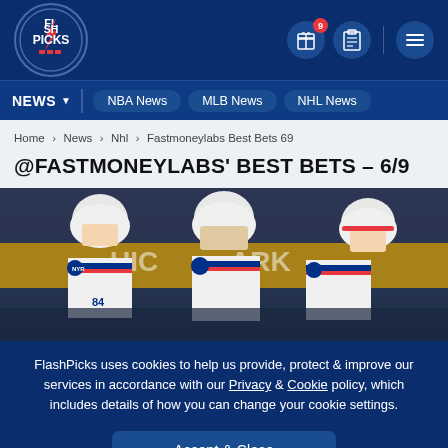[Figure (logo): Flash Picks logo in a circle with lightning bolt]
NEWS | NBA News | MLB News | NHL News
Home > News > Nhl > Fastmoneylabs Best Bets 69
@FASTMONEYLABS' BEST BETS - 6/9
[Figure (photo): Three New York Rangers hockey players on ice bench in white jerseys with helmets]
FlashPicks uses cookies to help us provide, protect & improve our services in accordance with our Privacy & Cookie policy, which includes details of how you can change your cookie settings.
Accept & Close